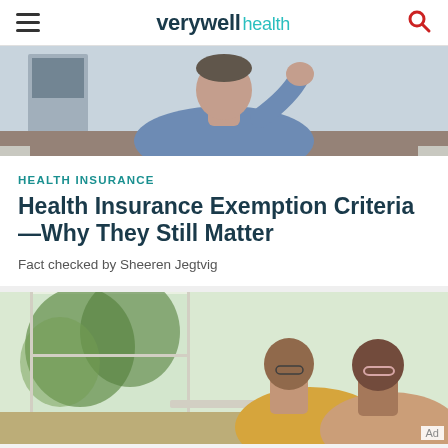verywell health
[Figure (photo): Partially visible photo of a person sitting at a desk with hand raised to head, appearing stressed or thinking, wearing a blue shirt]
HEALTH INSURANCE
Health Insurance Exemption Criteria—Why They Still Matter
Fact checked by Sheeren Jegtvig
[Figure (photo): Two older adults, likely a couple, looking at a laptop or documents together at a table near a bright window with green foliage outside]
[Figure (other): Ad banner with repeating circular dot pattern on light grey background]